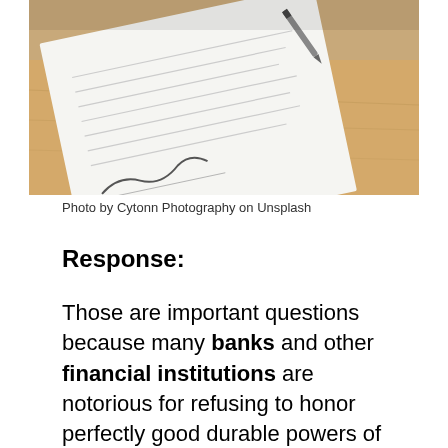[Figure (photo): A close-up photograph of a document being signed with a pen, placed on a wooden desk surface. The paper has handwritten lines and a signature visible.]
Photo by Cytonn Photography on Unsplash
Response:
Those are important questions because many banks and other financial institutions are notorious for refusing to honor perfectly good durable powers of attorney. Some have a policy, which I call a “staleness” doctrine, under which they will